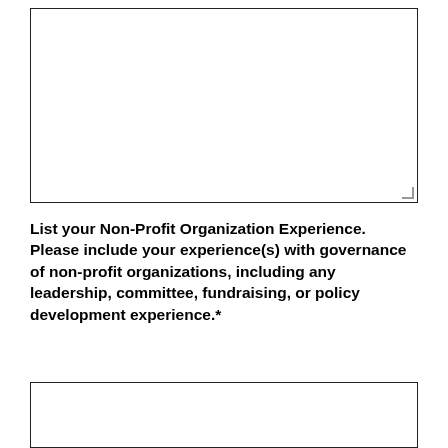[Figure (other): Empty text input box (top)]
List your Non-Profit Organization Experience. Please include your experience(s) with governance of non-profit organizations, including any leadership, committee, fundraising, or policy development experience.*
[Figure (other): Empty text input box (bottom)]